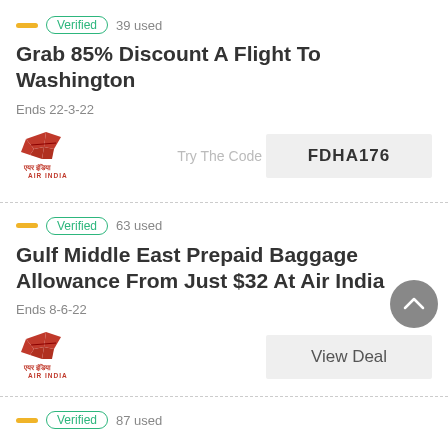Verified  39 used
Grab 85% Discount A Flight To Washington
Ends 22-3-22
[Figure (logo): Air India logo with red flying bird and text]
Try The Code  FDHA176
Verified  63 used
Gulf Middle East Prepaid Baggage Allowance From Just $32 At Air India
Ends 8-6-22
[Figure (logo): Air India logo with red flying bird and text]
View Deal
Verified  87 used